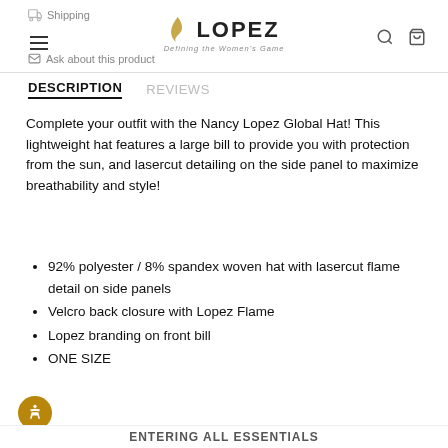Shipping | Ask about this product | LOPEZ Defining the Women's Game
DESCRIPTION   REVIEWS
Complete your outfit with the Nancy Lopez Global Hat! This lightweight hat features a large bill to provide you with protection from the sun, and lasercut detailing on the side panel to maximize breathability and style!
92% polyester / 8% spandex woven hat with lasercut flame detail on side panels
Velcro back closure with Lopez Flame
Lopez branding on front bill
ONE SIZE